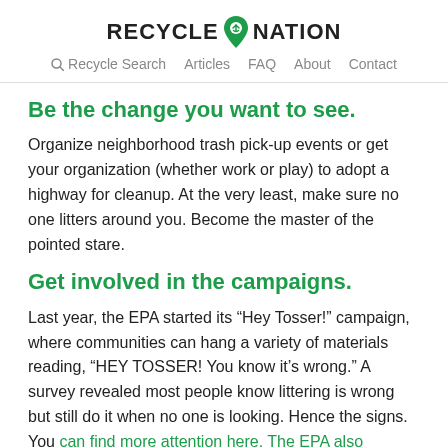RECYCLE NATION — Recycle Search | Articles | FAQ | About | Contact
Be the change you want to see.
Organize neighborhood trash pick-up events or get your organization (whether work or play) to adopt a highway for cleanup. At the very least, make sure no one litters around you. Become the master of the pointed stare.
Get involved in the campaigns.
Last year, the EPA started its “Hey Tosser!” campaign, where communities can hang a variety of materials reading, “HEY TOSSER! You know it’s wrong.” A survey revealed most people know littering is wrong but still do it when no one is looking. Hence the signs. You